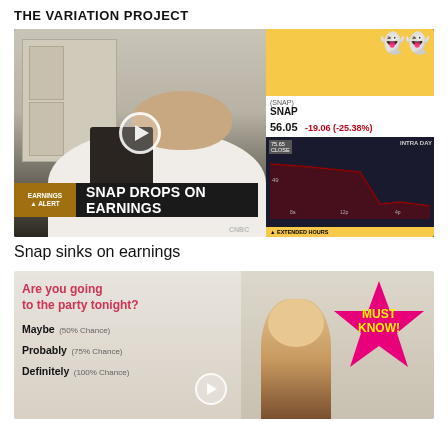THE VARIATION PROJECT
[Figure (screenshot): CNBC video thumbnail showing a man in a white shirt with SNAP stock ticker showing 56.05, -19.06 (-25.38%), and an intraday chart. Bottom banner reads 'EARNINGS ALERT | SNAP DROPS ON EARNINGS']
Snap sinks on earnings
[Figure (screenshot): Video thumbnail about probability/variation with text 'Are you going to the party tonight? Maybe (50% Chance), Probably (75% Chance), Definitely (100% Chance)' and a 'MUST KNOW!' star badge in pink]